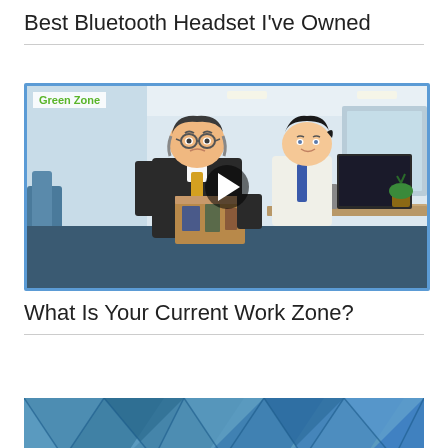Best Bluetooth Headset I've Owned
[Figure (illustration): Animated video thumbnail showing two cartoon office characters — an older man in a black suit with yellow tie looking distressed holding a cardboard box, and a younger man in white shirt with blue tie sitting at a desk with a computer monitor. Green Zone label in top-left corner. Play button overlay in center.]
What Is Your Current Work Zone?
[Figure (illustration): Partial view of a blue geometric/abstract background image with triangular network patterns, cropped at the bottom of the page.]